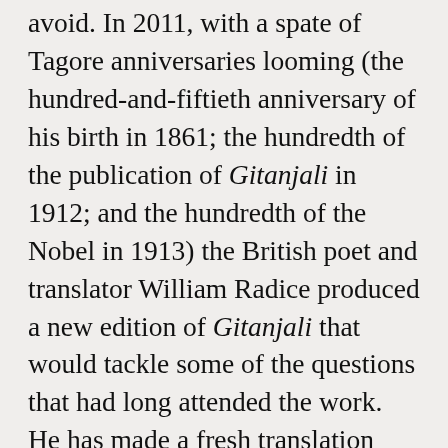avoid. In 2011, with a spate of Tagore anniversaries looming (the hundred-and-fiftieth anniversary of his birth in 1861; the hundredth of the publication of Gitanjali in 1912; and the hundredth of the Nobel in 1913) the British poet and translator William Radice produced a new edition of Gitanjali that would tackle some of the questions that had long attended the work.  He has made a fresh translation directly from the Bengali, as Tagore's prose translations had radically altered the originals and disguised the formal variety of the collection; he has reprinted the only existing manuscript of Tagore's that